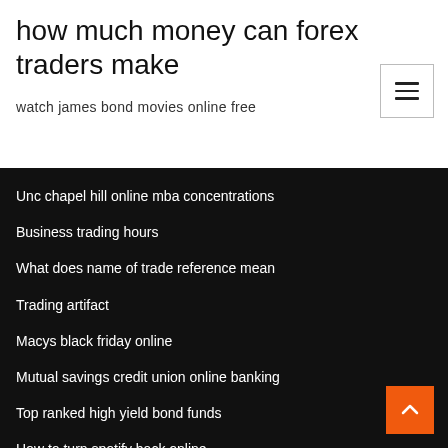how much money can forex traders make
watch james bond movies online free
Unc chapel hill online mba concentrations
Business trading hours
What does name of trade reference mean
Trading artifact
Macys black friday online
Mutual savings credit union online banking
Top ranked high yield bond funds
How to turn spotify back online